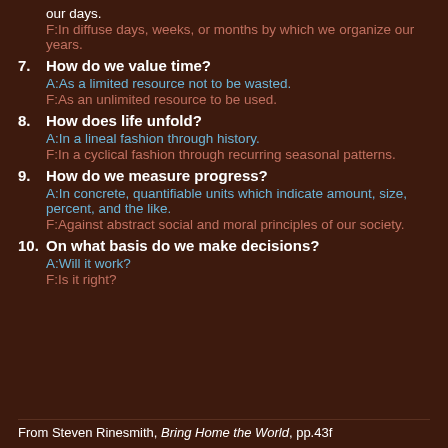A: precise minutes and hours by which we organize our days. F: In diffuse days, weeks, or months by which we organize our years.
7. How do we value time? A: As a limited resource not to be wasted. F: As an unlimited resource to be used.
8. How does life unfold? A: In a lineal fashion through history. F: In a cyclical fashion through recurring seasonal patterns.
9. How do we measure progress? A: In concrete, quantifiable units which indicate amount, size, percent, and the like. F: Against abstract social and moral principles of our society.
10. On what basis do we make decisions? A: Will it work? F: Is it right?
From Steven Rinesmith, Bring Home the World, pp.43f